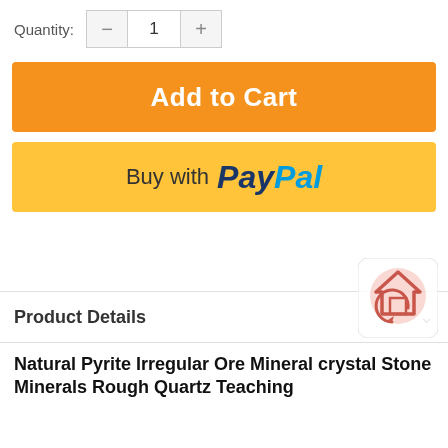Quantity: 1
[Figure (screenshot): Add to Cart orange button]
[Figure (screenshot): Buy with PayPal yellow button]
Product Details
Natural Pyrite Irregular Ore Mineral crystal Stone Minerals Rough Quartz Teaching